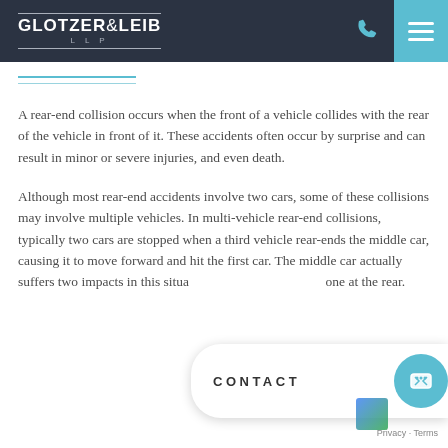GLOTZER & LEIB LLP
A rear-end collision occurs when the front of a vehicle collides with the rear of the vehicle in front of it. These accidents often occur by surprise and can result in minor or severe injuries, and even death.
Although most rear-end accidents involve two cars, some of these collisions may involve multiple vehicles. In multi-vehicle rear-end collisions, typically two cars are stopped when a third vehicle rear-ends the middle car, causing it to move forward and hit the first car. The middle car actually suffers two impacts in this situation: one at the front and one at the rear.